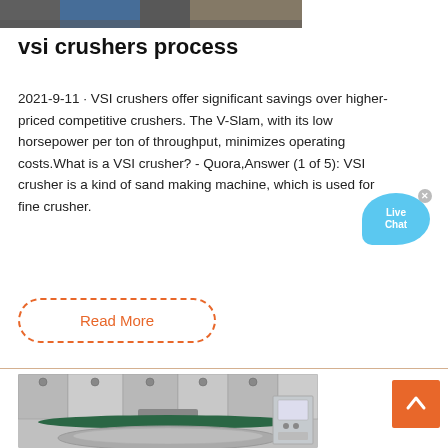[Figure (photo): Partial view of industrial machinery or crusher equipment at the top of the page]
vsi crushers process
2021-9-11 · VSI crushers offer significant savings over higher-priced competitive crushers. The V-Slam, with its low horsepower per ton of throughput, minimizes operating costs.What is a VSI crusher? - Quora,Answer (1 of 5): VSI crusher is a kind of sand making machine, which is used for fine crusher.
Read More
[Figure (photo): Industrial machine, likely a VSI crusher or vertical shaft impactor, showing circular disc components and a control panel]